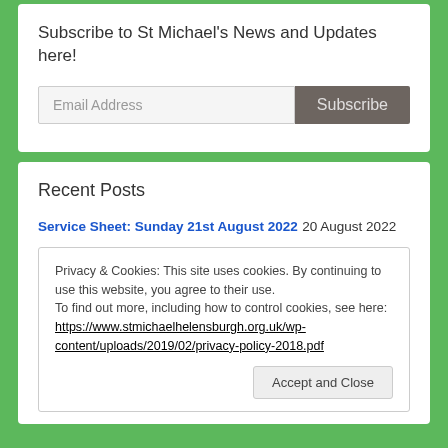Subscribe to St Michael's News and Updates here!
Email Address
Subscribe
Recent Posts
Service Sheet: Sunday 21st August 2022  20 August 2022
Privacy & Cookies: This site uses cookies. By continuing to use this website, you agree to their use.
To find out more, including how to control cookies, see here:
https://www.stmichaelhelensburgh.org.uk/wp-content/uploads/2019/02/privacy-policy-2018.pdf
Accept and Close